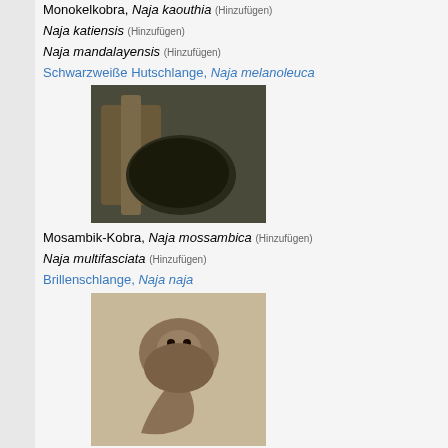Monokelkobra, Naja kaouthia (Hinzufügen)
Naja katiensis (Hinzufügen)
Naja mandalayensis (Hinzufügen)
Schwarzweiße Hutschlange, Naja melanoleuca
[Figure (photo): Photo of a dark cobra or snake near wooden objects]
Mosambik-Kobra, Naja mossambica (Hinzufügen)
Naja multifasciata (Hinzufügen)
Brillenschlange, Naja naja
[Figure (photo): Photo of a cobra rearing up on sandy ground]
Naja nigricincta (Hinzufügen)
Afrikanische Speikobra, Naja nigricollis
Kapkobra, Naja nivea (Hinzufügen)
Naja nubiae (Hinzufügen)
Mittelasiatische Kobra, Naja oxiana (Hinzufügen)
Rote Speikobra, Naja pallida
[Figure (photo): Photo of a reddish-pink cobra coiled]